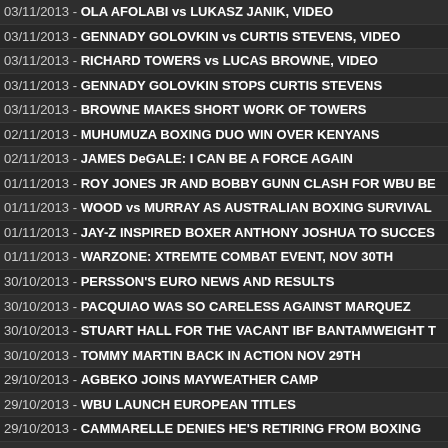03/11/2013 - OLA AFOLABI vs LUKASZ JANIK, VIDEO
03/11/2013 - GENNADY GOLOVKIN vs CURTIS STEVENS, VIDEO
03/11/2013 - RICHARD TOWERS vs LUCAS BROWNE, VIDEO
03/11/2013 - GENNADY GOLOVKIN STOPS CURTIS STEVENS
03/11/2013 - BROWNE MAKES SHORT WORK OF TOWERS
02/11/2013 - MUHUMUZA BOXING DUO WIN OVER KENYANS
02/11/2013 - JAMES DeGALE: I CAN BE A FORCE AGAIN
01/11/2013 - ROY JONES JR AND BOBBY GUNN CLASH FOR WBU BE
01/11/2013 - WOOD vs MURRAY AS AUSTRALIAN BOXING SURVIVAL
01/11/2013 - JAY-Z INSPIRED BOXER ANTHONY JOSHUA TO SUCCES
01/11/2013 - WARZONE: XTREMTE COMBAT EVENT, NOV 30TH
30/10/2013 - PERSSON'S EURO NEWS AND RESULTS
30/10/2013 - PACQUIAO WAS SO CARELESS AGAINST MARQUEZ
30/10/2013 - STUART HALL FOR THE VACANT IBF BANTAMWEIGHT T
30/10/2013 - TOMMY MARTIN BACK IN ACTION NOV 29TH
29/10/2013 - AGBEKO JOINS MAYWEATHER CAMP
29/10/2013 - WBU LAUNCH EUROPEAN TITLES
29/10/2013 - CAMMARELLE DENIES HE'S RETIRING FROM BOXING
28/10/2013 - PERSSON'S EURO NEWS AND RESULTS
28/10/2013 - WORLD BOXING CHAMPS 2013, KAZAKHSTAN LEADS M
28/10/2013 - WORLD BOXING FEDERATION NEWSLETTER
27/10/2013 - QUILLIN CUTS ROSADO, WINS BY TKO
27/10/2013 - QUILLIN TAKES 10TH-ROUND TKO OVER ROSADO
27/10/2013 - DEONTAY WILDER vs NICOLAI FIRTHA, VIDEO
27/10/2013 - BERNARD HOPKINS BEATS KARO MURAT
27/10/2013 - JOSHUA MAKES IT TWO OUT OF TWO